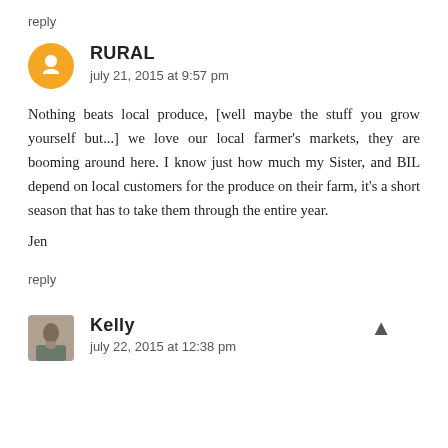reply
RURAL
july 21, 2015 at 9:57 pm
Nothing beats local produce, [well maybe the stuff you grow yourself but...] we love our local farmer's markets, they are booming around here. I know just how much my Sister, and BIL depend on local customers for the produce on their farm, it's a short season that has to take them through the entire year.
Jen
reply
Kelly
july 22, 2015 at 12:38 pm